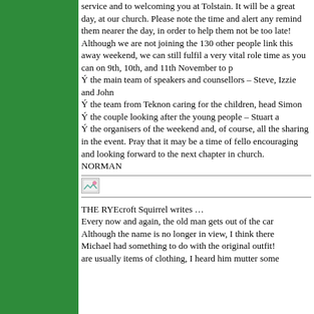service and to welcoming you at Tolstain. It will be a great day, at our church. Please note the time and alert any remind them nearer the day, in order to help them not be too late!
Although we are not joining the 130 other people link this away weekend, we can still fulfil a very vital role time as you can on 9th, 10th, and 11th November to p
Ý the main team of speakers and counsellors – Steve, Izzie and John
Ý the team from Teknon caring for the children, head Simon
Ý the couple looking after the young people – Stuart a
Ý the organisers of the weekend and, of course, all the sharing in the event. Pray that it may be a time of fello encouraging and looking forward to the next chapter in church.
NORMAN
[Figure (other): Small image icon placeholder]
THE RYEcroft Squirrel writes …
Every now and again, the old man gets out of the car Although the name is no longer in view, I think there Michael had something to do with the original outfit! are usually items of clothing, I heard him mutter some